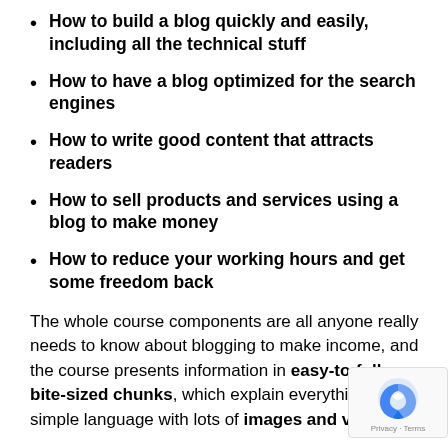How to build a blog quickly and easily, including all the technical stuff
How to have a blog optimized for the search engines
How to write good content that attracts readers
How to sell products and services using a blog to make money
How to reduce your working hours and get some freedom back
The whole course components are all anyone really needs to know about blogging to make income, and the course presents information in easy-to-follow bite-sized chunks, which explain everything in simple language with lots of images and videos.